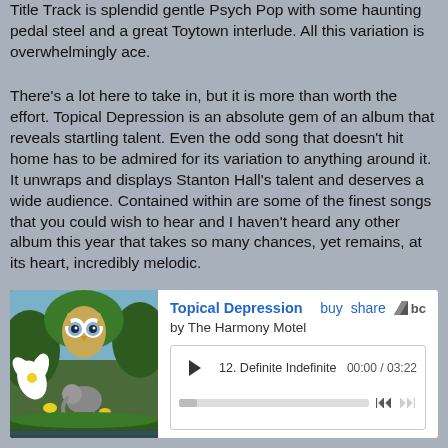Title Track is splendid gentle Psych Pop with some haunting pedal steel and a great Toytown interlude. All this variation is overwhelmingly ace.
There's a lot here to take in, but it is more than worth the effort. Topical Depression is an absolute gem of an album that reveals startling talent. Even the odd song that doesn't hit home has to be admired for its variation to anything around it. It unwraps and displays Stanton Hall's talent and deserves a wide audience. Contained within are some of the finest songs that you could wish to hear and I haven't heard any other album this year that takes so many chances, yet remains, at its heart, incredibly melodic.
[Figure (other): Bandcamp music player widget showing album 'Topical Depression' by The Harmony Motel. Includes album art with surreal illustration of owl-like creature and elephant in tropical setting, track listing showing track 12 'Definite Indefinite' at 00:00 / 03:22, play button, progress bar, and skip controls. Links for buy and share.]